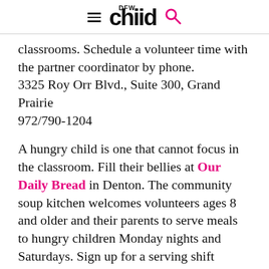DFW child
classrooms. Schedule a volunteer time with the partner coordinator by phone.
3325 Roy Orr Blvd., Suite 300, Grand Prairie
972/790-1204
A hungry child is one that cannot focus in the classroom. Fill their bellies at Our Daily Bread in Denton. The community soup kitchen welcomes volunteers ages 8 and older and their parents to serve meals to hungry children Monday nights and Saturdays. Sign up for a serving shift online.
300 W. Oak St., Suite 100, Denton
940/566-1308